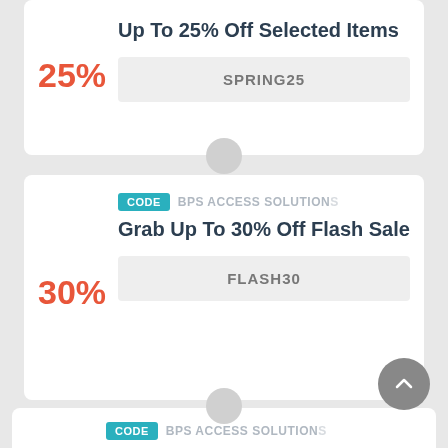Up To 25% Off Selected Items
SPRING25
CODE  BPS ACCESS SOLUTIONS
Grab Up To 30% Off Flash Sale
FLASH30
CODE  BPS ACCESS SOLUTIONS
Cyber Monday Sale At BPS Access Solutions